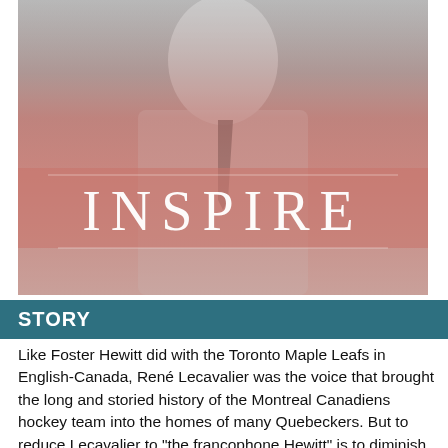[Figure (photo): Black and white photograph of a man in a suit and tie, overlaid with a reddish-pink semi-transparent tint. Large text 'INSPIRE' is overlaid in white serif letters across the middle of the image.]
STORY
Like Foster Hewitt did with the Toronto Maple Leafs in English-Canada, René Lecavalier was the voice that brought the long and storied history of the Montreal Canadiens hockey team into the homes of many Quebeckers. But to reduce Lecavalier to "the francophone Hewitt" is to diminish his importance and to underestimate the revolutionary impact he had on sports broadcasting in this country. Lecavalier joined Radio-Canada, the CBC's French-language division, in 1937 as a war correspondent based in North Africa. From 1941 to 1952, he hosted cultural radio programs for Radio-Canada. And, in 1952, Lecavalier took on the job of doing